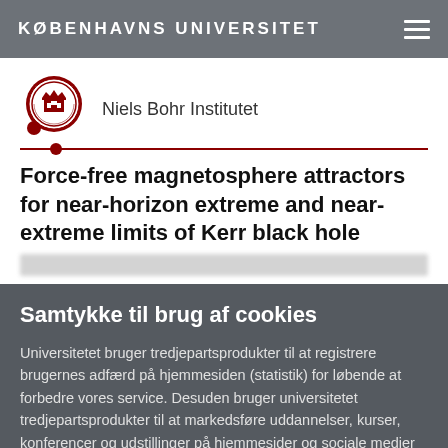KØBENHAVNS UNIVERSITET
[Figure (logo): University of Copenhagen circular red seal logo with crown and buildings]
Niels Bohr Institutet
Force-free magnetosphere attractors for near-horizon extreme and near-extreme limits of Kerr black hole
Samtykke til brug af cookies
Universitetet bruger tredjepartsprodukter til at registrere brugernes adfærd på hjemmesiden (statistik) for løbende at forbedre vores service. Desuden bruger universitetet tredjepartsprodukter til at markedsføre uddannelser, kurser, konferencer og udstillinger på hjemmesider og sociale medier for at give dig de mest relevante tilbud.